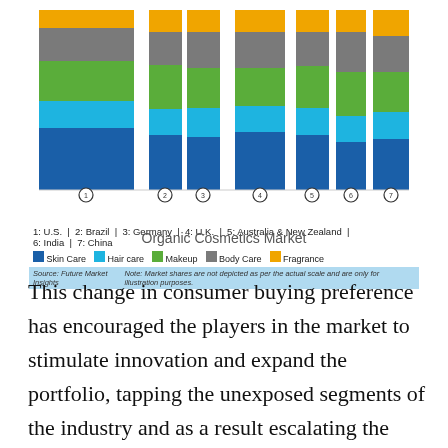[Figure (stacked-bar-chart): Stacked bar chart showing organic cosmetics market segments across 7 regions]
Organic Cosmetics Market
This change in consumer buying preference has encouraged the players in the market to stimulate innovation and expand the portfolio, tapping the unexposed segments of the industry and as a result escalating the